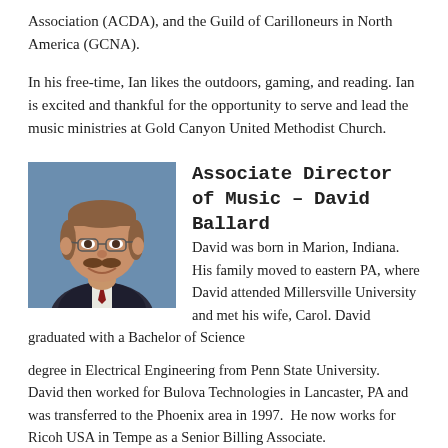Association (ACDA), and the Guild of Carilloneurs in North America (GCNA).
In his free-time, Ian likes the outdoors, gaming, and reading. Ian is excited and thankful for the opportunity to serve and lead the music ministries at Gold Canyon United Methodist Church.
[Figure (photo): Headshot photo of David Ballard, a middle-aged man with glasses and a mustache, smiling, wearing a dark suit]
Associate Director of Music – David Ballard
David was born in Marion, Indiana. His family moved to eastern PA, where David attended Millersville University and met his wife, Carol. David graduated with a Bachelor of Science degree in Electrical Engineering from Penn State University. David then worked for Bulova Technologies in Lancaster, PA and was transferred to the Phoenix area in 1997. He now works for Ricoh USA in Tempe as a Senior Billing Associate.
After volunteering as a drummer for many months at Gold Canyon